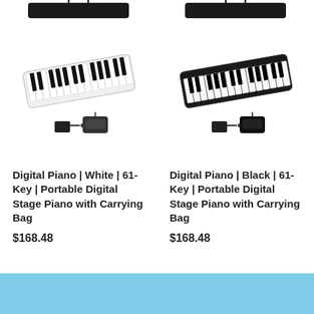[Figure (photo): White 61-key portable digital stage piano with carrying bag and accessories (power adapter and sustain pedal)]
Digital Piano | White | 61-Key | Portable Digital Stage Piano with Carrying Bag
$168.48
[Figure (photo): Black 61-key portable digital stage piano with carrying bag and accessories (power adapter and sustain pedal)]
Digital Piano | Black | 61-Key | Portable Digital Stage Piano with Carrying Bag
$168.48